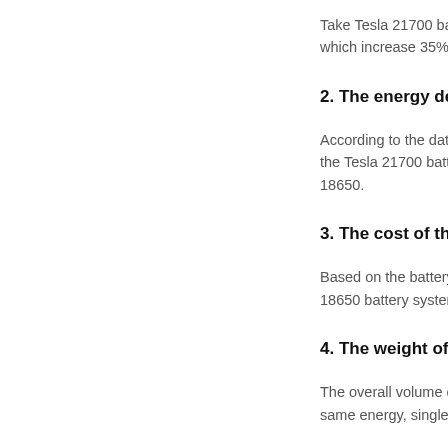Take Tesla 21700 bat... which increase 35%.
2. The energy den...
According to the data... the Tesla 21700 batte... 18650.
3. The cost of the...
Based on the battery ... 18650 battery system...
4. The weight of th...
The overall volume of ... same energy, single b...